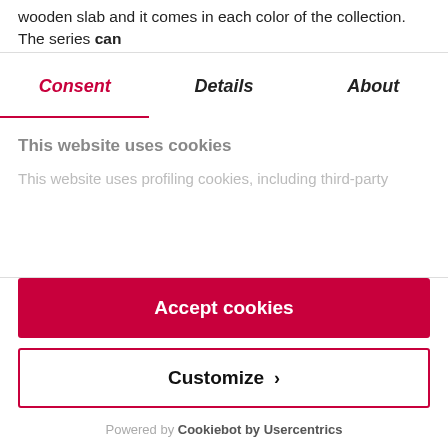wooden slab and it comes in each color of the collection. The series can
Consent | Details | About
This website uses cookies
This website uses profiling cookies, including third-party
Accept cookies
Customize ›
Refuse
Powered by Cookiebot by Usercentrics